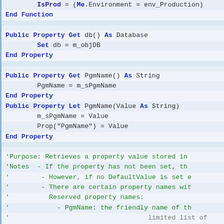[Figure (screenshot): VBA/Basic source code snippet showing property definitions and comments: IsProd function end, db property get, PgmName property get/let, and comment block about Prop function purpose and notes.]